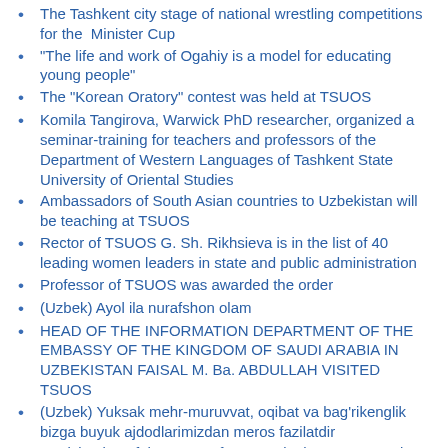The Tashkent city stage of national wrestling competitions for the Minister Cup
"The life and work of Ogahiy is a model for educating young people"
The "Korean Oratory" contest was held at TSUOS
Komila Tangirova, Warwick PhD researcher, organized a seminar-training for teachers and professors of the Department of Western Languages of Tashkent State University of Oriental Studies
Ambassadors of South Asian countries to Uzbekistan will be teaching at TSUOS
Rector of TSUOS G. Sh. Rikhsieva is in the list of 40 leading women leaders in state and public administration
Professor of TSUOS was awarded the order
(Uzbek) Ayol ila nurafshon olam
HEAD OF THE INFORMATION DEPARTMENT OF THE EMBASSY OF THE KINGDOM OF SAUDI ARABIA IN UZBEKISTAN FAISAL M. Ba. ABDULLAH VISITED TSUOS
(Uzbek) Yuksak mehr-muruvvat, oqibat va bag'rikenglik bizga buyuk ajdodlarimizdan meros fazilatdir
Participation of the rector of TSUOS in the 1st symposium of